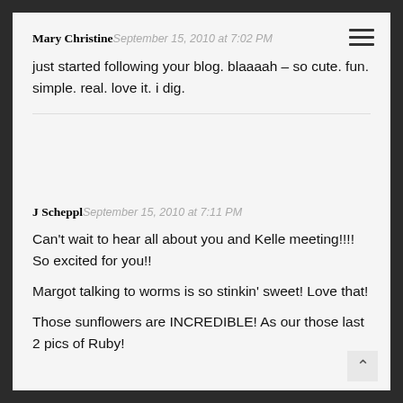Mary Christine September 15, 2010 at 7:02 PM
just started following your blog. blaaaah – so cute. fun. simple. real. love it. i dig.
J Scheppl September 15, 2010 at 7:11 PM
Can't wait to hear all about you and Kelle meeting!!!! So excited for you!!
Margot talking to worms is so stinkin' sweet! Love that!
Those sunflowers are INCREDIBLE! As our those last 2 pics of Ruby!